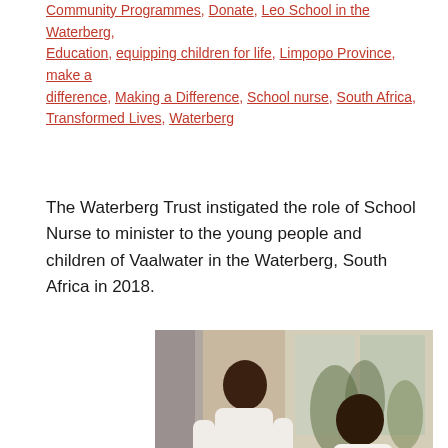Community Programmes, Donate, Leo School in the Waterberg, Education, equipping children for life, Limpopo Province, make a difference, Making a Difference, School nurse, South Africa, Transformed Lives, Waterberg
The Waterberg Trust instigated the role of School Nurse to minister to the young people and children of Vaalwater in the Waterberg, South Africa in 2018.
[Figure (photo): Two people in a consultation setting — a student in a white shirt and dark skirt seated at a table, and a school nurse in a white coat sitting across, writing notes. Indoor setting with natural light from windows in background.]